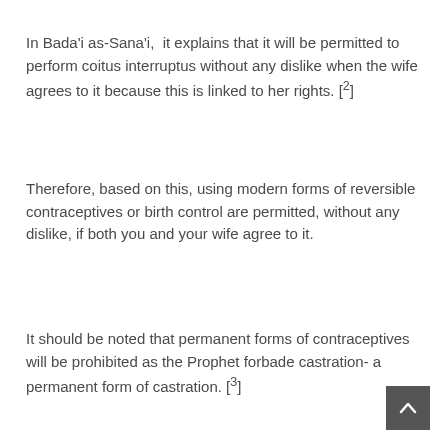In Bada'i as-Sana'i,  it explains that it will be permitted to perform coitus interruptus without any dislike when the wife agrees to it because this is linked to her rights. [²]
Therefore, based on this, using modern forms of reversible contraceptives or birth control are permitted, without any dislike, if both you and your wife agree to it.
It should be noted that permanent forms of contraceptives will be prohibited as the Prophet forbade castration- a permanent form of castration. [³]